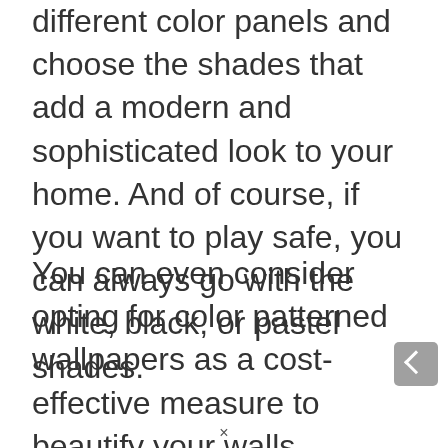different color panels and choose the shades that add a modern and sophisticated look to your home. And of course, if you want to play safe, you can always go with the white, black, or pastel shades.
You can even consider opting for color patterned wallpapers as a cost-effective measure to beautify your walls.